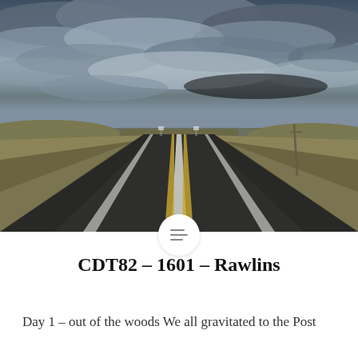[Figure (photo): A long straight two-lane asphalt road stretching to the horizon through open high-desert scrubland, with dramatic stormy dark blue-grey clouds filling most of the sky. Yellow center lines and white edge lines visible on the road. Utility pole on the right side. Rolling hills in the far distance.]
CDT82 – 1601 – Rawlins
Day 1 – out of the woods We all gravitated to the Post Office...